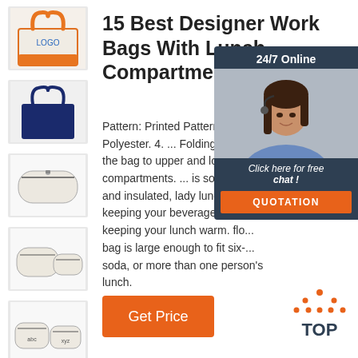[Figure (photo): Thumbnail image 1: white canvas tote bag with orange handles and LOGO text]
[Figure (photo): Thumbnail image 2: navy blue tote bag with navy handles]
[Figure (photo): Thumbnail image 3: beige/cream cosmetic pouch on white background]
[Figure (photo): Thumbnail image 4: two beige/cream cosmetic pouches of different sizes]
[Figure (photo): Thumbnail image 5: two small pouches on white background with text labels]
15 Best Designer Work Bags With Lunch Compartments For
Pattern: Printed Pattern. Mate... Polyester. 4. ... Folding panel the bag to upper and lower compartments. ... is soft, leak and insulated, lady lunch bag keeping your beverages cold keeping your lunch warm. flo... bag is large enough to fit six-... soda, or more than one person's lunch.
[Figure (photo): Chat widget with woman wearing headset, 24/7 Online label, Click here for free chat, and QUOTATION button]
Get Price
[Figure (other): TOP navigation button with orange triangle dot pattern above text TOP]